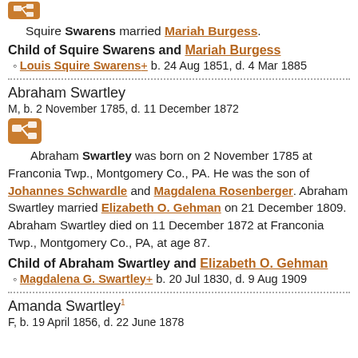[Figure (other): Orange/brown icon with family tree or branching symbol]
Squire Swarens married Mariah Burgess.
Child of Squire Swarens and Mariah Burgess
Louis Squire Swarens+ b. 24 Aug 1851, d. 4 Mar 1885
Abraham Swartley
M, b. 2 November 1785, d. 11 December 1872
[Figure (other): Orange/brown icon with branching/family tree symbol]
Abraham Swartley was born on 2 November 1785 at Franconia Twp., Montgomery Co., PA. He was the son of Johannes Schwardle and Magdalena Rosenberger. Abraham Swartley married Elizabeth O. Gehman on 21 December 1809. Abraham Swartley died on 11 December 1872 at Franconia Twp., Montgomery Co., PA, at age 87.
Child of Abraham Swartley and Elizabeth O. Gehman
Magdalena G. Swartley+ b. 20 Jul 1830, d. 9 Aug 1909
Amanda Swartley
F, b. 19 April 1856, d. 22 June 1878